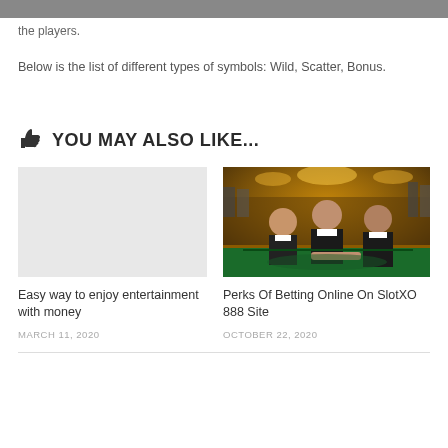the players.
Below is the list of different types of symbols: Wild, Scatter, Bonus.
YOU MAY ALSO LIKE...
[Figure (photo): Empty placeholder for first article card]
[Figure (photo): Casino dealers at a roulette/gaming table in a casino with warm golden lighting]
Easy way to enjoy entertainment with money
MARCH 11, 2020
Perks Of Betting Online On SlotXO 888 Site
OCTOBER 22, 2020